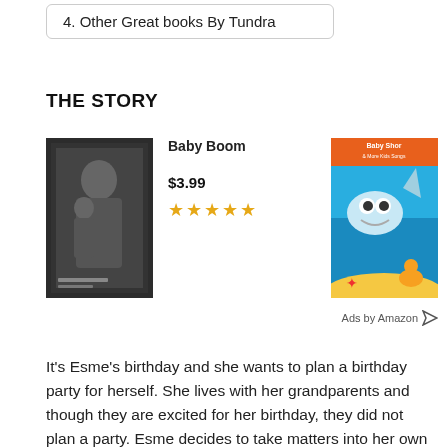4. Other Great books By Tundra
THE STORY
[Figure (other): Advertisement block showing two book/product images: left is a dark cover with a woman and child, right is a colorful children's book 'Baby Shark & More Kids Songs'. Center shows product title 'Baby Boom', price '$3.99', and five star rating. 'Ads by Amazon' label at bottom right.]
It's Esme's birthday and she wants to plan a birthday party for herself. She lives with her grandparents and though they are excited for her birthday, they did not plan a party. Esme decides to take matters into her own hands and begins to plan a perfect party. The characters she invites and her interactions with them will